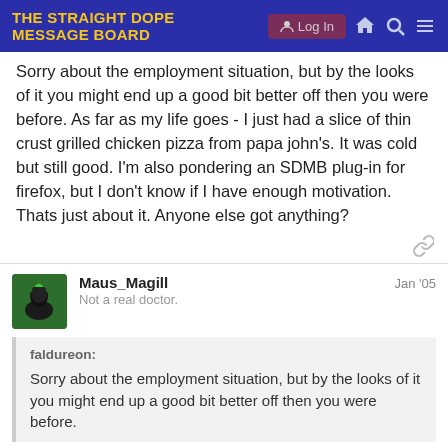THE STRAIGHT DOPE MESSAGE BOARD
Sorry about the employment situation, but by the looks of it you might end up a good bit better off then you were before. As far as my life goes - I just had a slice of thin crust grilled chicken pizza from papa john's. It was cold but still good. I'm also pondering an SDMB plug-in for firefox, but I don't know if I have enough motivation. Thats just about it. Anyone else got anything?
Maus_Magill Jan '05 Not a real doctor.
faldureon:
Sorry about the employment situation, but by the looks of it you might end up a good bit better off then you were before.
Thanks.